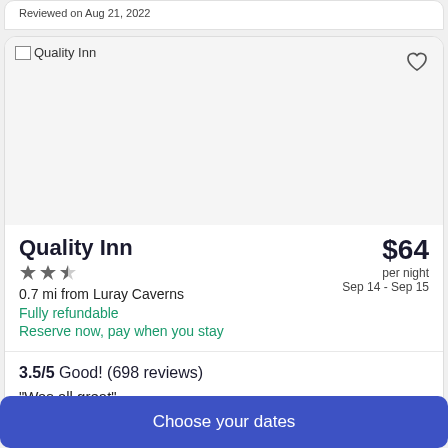Reviewed on Aug 21, 2022
[Figure (photo): Quality Inn hotel photo placeholder image]
Quality Inn
★★½ (2.5 stars)
$64 per night
Sep 14 - Sep 15
0.7 mi from Luray Caverns
Fully refundable
Reserve now, pay when you stay
3.5/5 Good! (698 reviews)
"Was all great"
Choose your dates